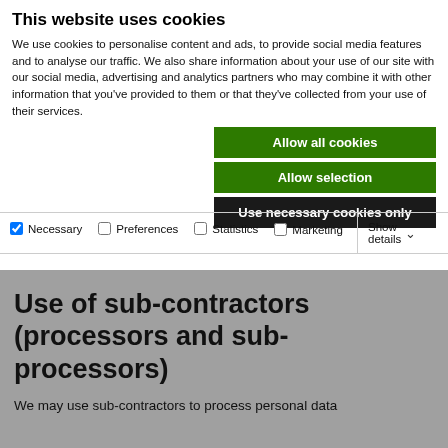This website uses cookies
We use cookies to personalise content and ads, to provide social media features and to analyse our traffic. We also share information about your use of our site with our social media, advertising and analytics partners who may combine it with other information that you've provided to them or that they've collected from your use of their services.
Allow all cookies
Allow selection
Use necessary cookies only
Necessary  Preferences  Statistics  Marketing  Show details
Use of sub-contractors (processors and sub-processors)
We may use sub-contractors to process personal data